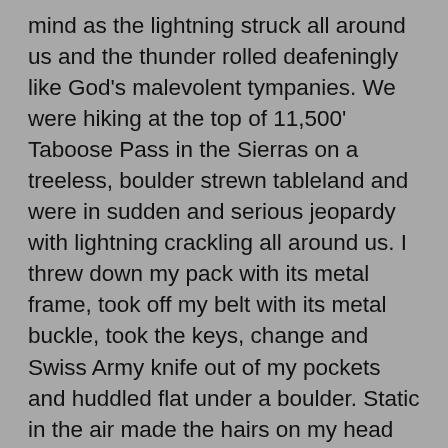mind as the lightning struck all around us and the thunder rolled deafeningly like God's malevolent tympanies. We were hiking at the top of 11,500' Taboose Pass in the Sierras on a treeless, boulder strewn tableland and were in sudden and serious jeopardy with lightning crackling all around us. I threw down my pack with its metal frame, took off my belt with its metal buckle, took the keys, change and Swiss Army knife out of my pockets and huddled flat under a boulder. Static in the air made the hairs on my head and arms stand up and I could smell metallic ozone from the lightning strikes. We hunkered down for 15 minutes, each under a separate rock until the storm finally passed.
Whenever lightning strikes, it heats the air to 50,000 degrees. The rapid expansion of the